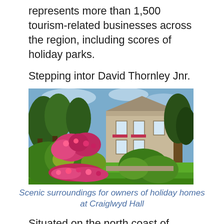represents more than 1,500 tourism-related businesses across the region, including scores of holiday parks.
Stepping intor David Thornley Jnr.
[Figure (photo): A stone manor house with lush green gardens in the foreground, featuring pink and red flowering rhododendron bushes, green lawns, and tall trees.]
Scenic surroundings for owners of holiday homes at Craiglwyd Hall
Situated on the north coast of County Conwy between Anglesey and the Menai Straits, the park provides tranquil landscaped grounds in a picture-postcard